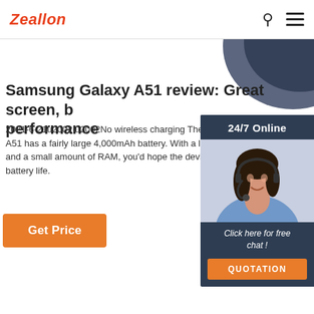Zeallon
[Figure (screenshot): Dark rounded phone/device shape visible at top right corner as background decoration]
Samsung Galaxy A51 review: Great screen, b performance
2021-6-21u2002·u2002No wireless charging The S A51 has a fairly large 4,000mAh battery. With a lo and a small amount of RAM, you'd hope the devic battery life.
[Figure (photo): 24/7 Online chat widget showing a woman with headset smiling, with 'Click here for free chat!' text and orange QUOTATION button]
Get Price